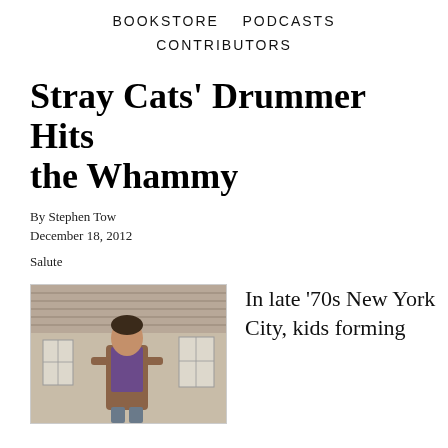BOOKSTORE   PODCASTS
CONTRIBUTORS
Stray Cats' Drummer Hits the Whammy
By Stephen Tow
December 18, 2012
Salute
[Figure (photo): A young man standing inside a building with a corrugated metal ceiling, wearing a brown shirt and purple vest]
In late ‘70s New York City, kids forming